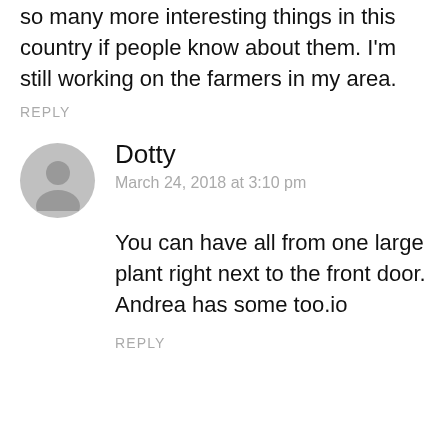so many more interesting things in this country if people know about them. I'm still working on the farmers in my area.
REPLY
Dotty
March 24, 2018 at 3:10 pm
You can have all from one large plant right next to the front door. Andrea has some too.io
REPLY